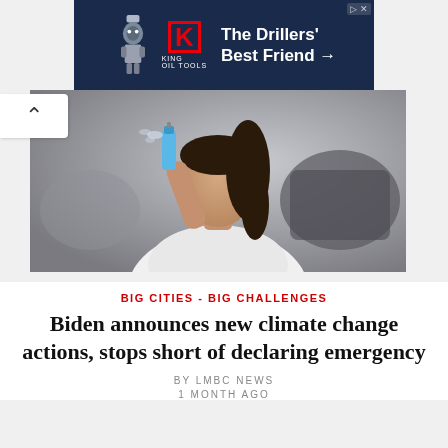[Figure (screenshot): Advertisement banner for King Oil Tools with dark navy background, robot/tool icon on left, red K logo with KING OIL TOOLS text, and white text reading The Drillers' Best Friend →]
[Figure (photo): Hero photo of a young woman with dark curly hair wearing a white t-shirt, holding a spray can up near her face, outdoor urban background blurred]
BIG CITIES - BIG CHALLENGES
Biden announces new climate change actions, stops short of declaring emergency
BY LMBC NEWS
1 MONTH AGO